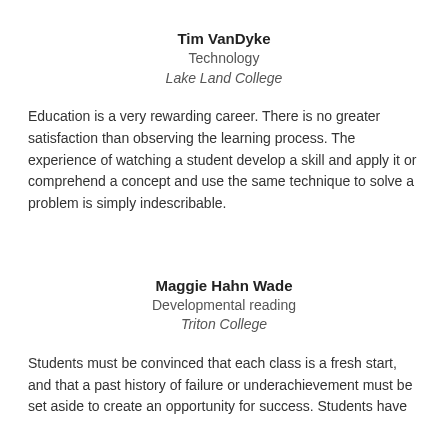Tim VanDyke
Technology
Lake Land College
Education is a very rewarding career. There is no greater satisfaction than observing the learning process. The experience of watching a student develop a skill and apply it or comprehend a concept and use the same technique to solve a problem is simply indescribable.
Maggie Hahn Wade
Developmental reading
Triton College
Students must be convinced that each class is a fresh start, and that a past history of failure or underachievement must be set aside to create an opportunity for success. Students have